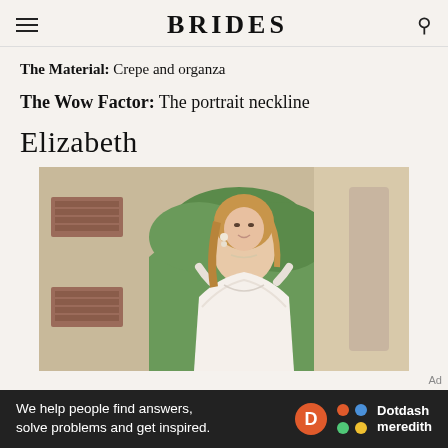BRIDES
The Material: Crepe and organza
The Wow Factor: The portrait neckline
Elizabeth
[Figure (photo): A bride in a white off-shoulder lace wedding gown standing under a stone arch with greenery in the background]
Ad
We help people find answers, solve problems and get inspired. Dotdash meredith